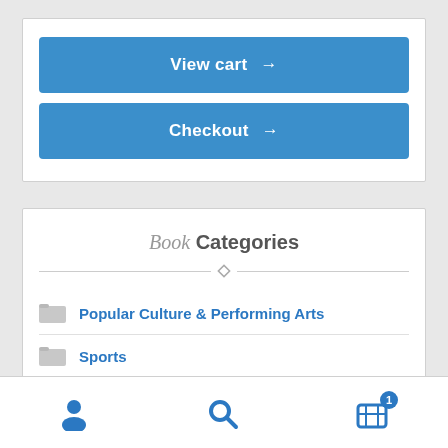View cart →
Checkout →
Book Categories
Popular Culture & Performing Arts
Sports
Baseball
User | Search | Cart (1)